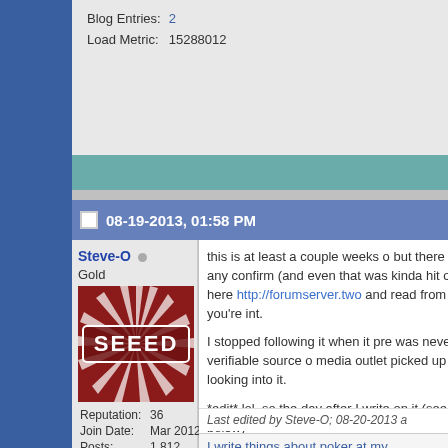| Blog Entries: | 2 |
| Load Metric: | 15288012 |
08-19-2013, 01:58 PM
Steve-O
Gold
[Figure (photo): Avatar image with SEEED text on red background with radiating stripes]
| Reputation: | 36 |
| Join Date: | Mar 2012 |
| Posts: | 1,812 |
| Load Metric: | 15288012 |
this is at least a couple weeks old but there was never any confirm (and even that was kinda hit or start here http://forumserver.two and read from there if you're int. I stopped following it when it pre was never a verifiable source o media outlet picked up the story, looking into it. *edit* lol, so the day after I write on it (see post below)
Last edited by Steve-O; 08-20-2013 a
I write things about poker at my